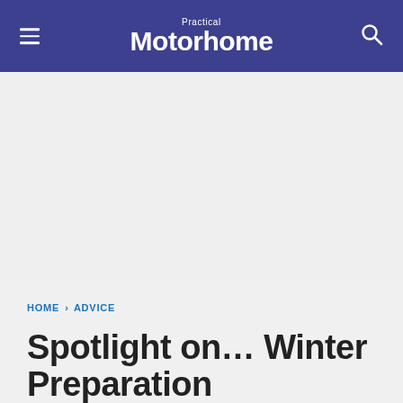Practical Motorhome
[Figure (other): Advertisement placeholder area (grey background)]
HOME › ADVICE
Spotlight on… Winter Preparation